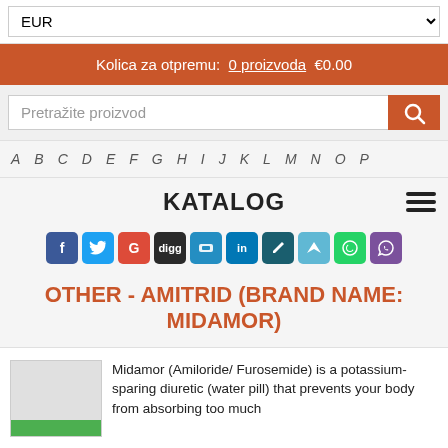EUR (dropdown)
Kolica za otpremu: 0 proizvoda €0.00
Pretražite proizvod
A B C D E F G H I J K L M N O P
KATALOG
[Figure (other): Social sharing icon buttons: Facebook, Twitter, Google+, Digg, Delicious, LinkedIn, Pencil, Flattr, WhatsApp, Viber]
OTHER - AMITRID (BRAND NAME: MIDAMOR)
Midamor (Amiloride/ Furosemide) is a potassium-sparing diuretic (water pill) that prevents your body from absorbing too much